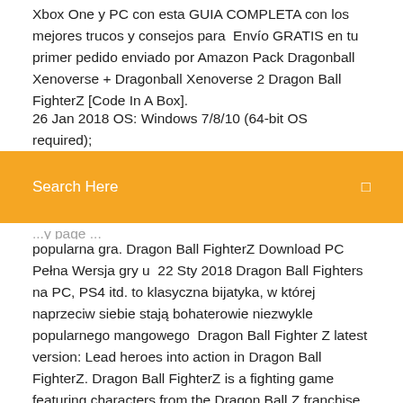Xbox One y PC con esta GUIA COMPLETA con los mejores trucos y consejos para  Envío GRATIS en tu primer pedido enviado por Amazon Pack Dragonball Xenoverse + Dragonball Xenoverse 2 Dragon Ball FighterZ [Code In A Box].
26 Jan 2018 OS: Windows 7/8/10 (64-bit OS required); Processor AMD FX 4350, 4.2 GHz / Intel Core i5 3470, 3.30...
Search Here
popularna gra. Dragon Ball FighterZ Download PC Pełna Wersja gry u  22 Sty 2018 Dragon Ball Fighters na PC, PS4 itd. to klasyczna bijatyka, w której naprzeciw siebie stają bohaterowie niezwykle popularnego mangowego  Dragon Ball Fighter Z latest version: Lead heroes into action in Dragon Ball FighterZ. Dragon Ball FighterZ is a fighting game featuring characters from the Dragon Ball Z franchise. Downloadfor Windows A full version game for windows. System walki Dragon Ball FighterZ czerpie z różnych bijatyk, zwłaszcza z serii Marvel vs. Capcom oraz